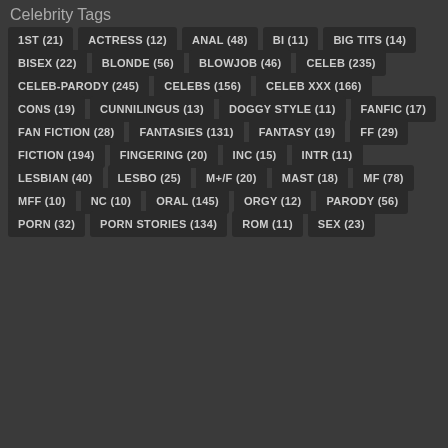Celebrity Tags
1ST (21)
ACTRESS (12)
ANAL (48)
BI (11)
BIG TITS (14)
BISEX (22)
BLONDE (56)
BLOWJOB (46)
CELEB (235)
CELEB-PARODY (245)
CELEBS (156)
CELEB XXX (166)
CONS (19)
CUNNILINGUS (13)
DOGGY STYLE (11)
FANFIC (17)
FAN FICTION (28)
FANTASIES (131)
FANTASY (19)
FF (29)
FICTION (194)
FINGERING (20)
INC (15)
INTR (11)
LESBIAN (40)
LESBO (25)
M+/F (20)
MAST (18)
MF (78)
MFF (10)
NC (10)
ORAL (145)
ORGY (12)
PARODY (56)
PORN (32)
PORN STORIES (134)
ROM (11)
SEX (23)